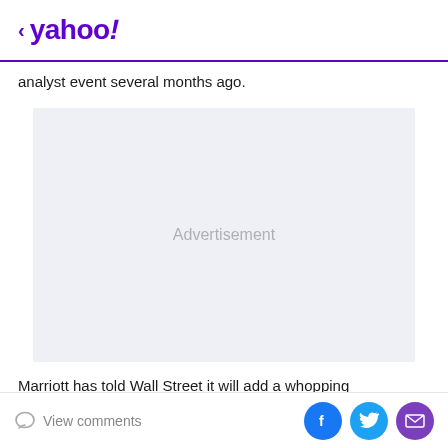< yahoo!
analyst event several months ago.
[Figure (other): Advertisement placeholder box with light gray background]
Marriott has told Wall Street it will add a whopping
View comments | Facebook share | Twitter share | Email share